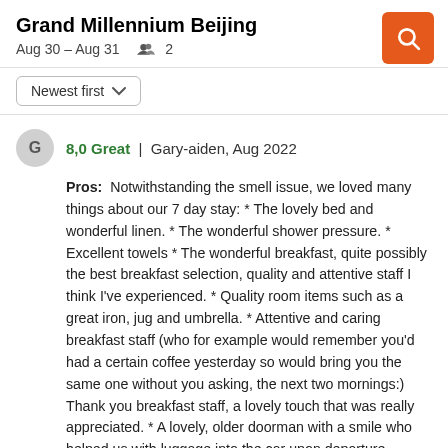Grand Millennium Beijing
Aug 30 – Aug 31   👥 2
Newest first
8,0 Great | Gary-aiden, Aug 2022
Pros:  Notwithstanding the smell issue, we loved many things about our 7 day stay: * The lovely bed and wonderful linen. * The wonderful shower pressure. * Excellent towels * The wonderful breakfast, quite possibly the best breakfast selection, quality and attentive staff I think I've experienced. * Quality room items such as a great iron, jug and umbrella. * Attentive and caring breakfast staff (who for example would remember you'd had a certain coffee yesterday so would bring you the same one without you asking, the next two mornings:) Thank you breakfast staff, a lovely touch that was really appreciated. * A lovely, older doorman with a smile who helped us with luggage into the car upon departure.
Cons:  * The smell in the corridors and rooms. We tried 3 rooms before we found one less smelly. (Thank you Mike the concierge for helping us). In my humble opinion it's the carpets in the corridors and rooms, they need professional steam